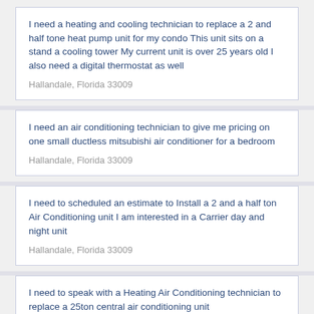I need a heating and cooling technician to replace a 2 and half tone heat pump unit for my condo This unit sits on a stand a cooling tower My current unit is over 25 years old I also need a digital thermostat as well
Hallandale, Florida 33009
I need an air conditioning technician to give me pricing on one small ductless mitsubishi air conditioner for a bedroom
Hallandale, Florida 33009
I need to scheduled an estimate to Install a 2 and a half ton Air Conditioning unit I am interested in a Carrier day and night unit
Hallandale, Florida 33009
I need to speak with a Heating Air Conditioning technician to replace a 25ton central air conditioning unit